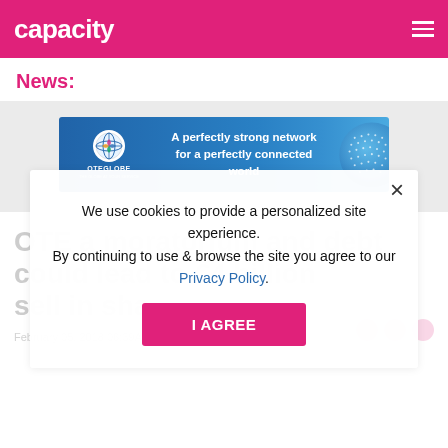capacity
News:
[Figure (other): OTEGLOBE advertisement banner: 'A perfectly strong network for a perfectly connected world' on a blue background with globe graphic]
OTE a moratorium and debt could lead to €4 billion sell in sha...
February 05, 2018 06:39AM
We use cookies to provide a personalized site experience. By continuing to use & browse the site you agree to our Privacy Policy.
I AGREE